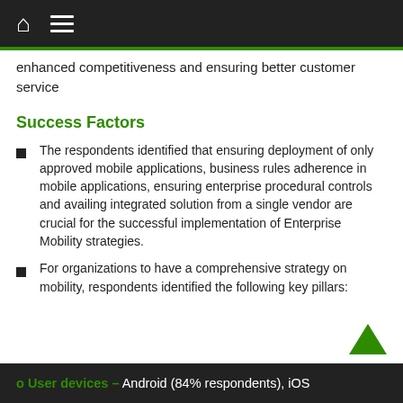enhanced competitiveness and ensuring better customer service
Success Factors
The respondents identified that ensuring deployment of only approved mobile applications, business rules adherence in mobile applications, ensuring enterprise procedural controls and availing integrated solution from a single vendor are crucial for the successful implementation of Enterprise Mobility strategies.
For organizations to have a comprehensive strategy on mobility, respondents identified the following key pillars:
o User devices – Android (84% respondents), iOS